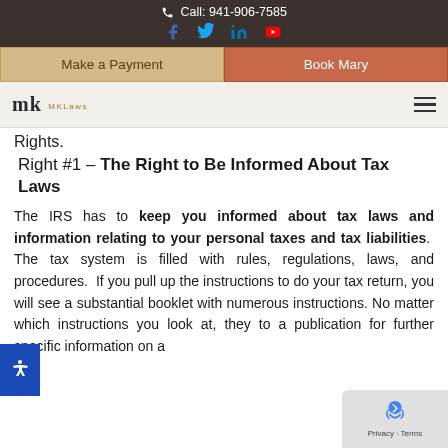Call: 941-906-7585
Make a Payment | Book Mary
Rights.
Right #1 – The Right to Be Informed About Tax Laws
The IRS has to keep you informed about tax laws and information relating to your personal taxes and tax liabilities. The tax system is filled with rules, regulations, laws, and procedures. If you pull up the instructions to do your tax return, you will see a substantial booklet with numerous instruc... No matter which instructions you look at, they... to a publication for further specific information on...